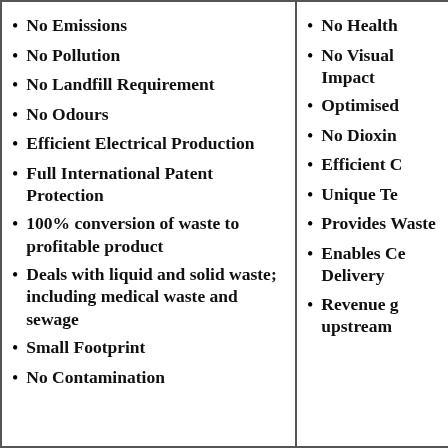No Emissions
No Pollution
No Landfill Requirement
No Odours
Efficient Electrical Production
Full International Patent Protection
100% conversion of waste to profitable product
Deals with liquid and solid waste; including medical waste and sewage
Small Footprint
No Contamination
No Health
No Visual Impact
Optimised
No Dioxin
Efficient C
Unique Te
Provides Waste
Enables Ce Delivery
Revenue g upstream